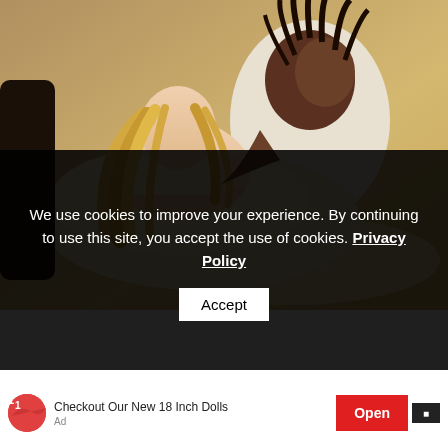[Figure (photo): Two people posed outdoors in a field. A woman with long blonde hair wearing a cream/beige off-shoulder dress lying down, and a man in white clothing behind her. Warm golden outdoor lighting.]
We use cookies to improve your experience. By continuing to use this site, you accept the use of cookies. Privacy Policy
Accept
Checkout Our New 18 Inch Dolls
Open
Ad